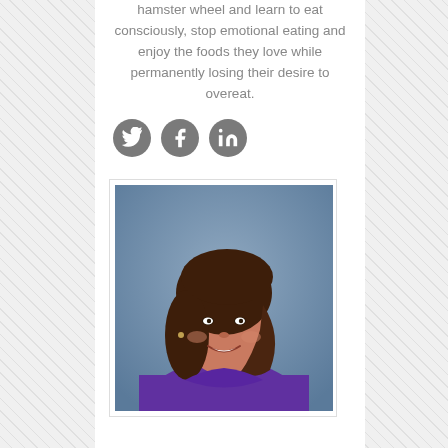hamster wheel and learn to eat consciously, stop emotional eating and enjoy the foods they love while permanently losing their desire to overeat.
[Figure (other): Three social media icon buttons: Twitter (bird icon), Facebook (f icon), LinkedIn (in icon), all in dark gray circular buttons]
[Figure (photo): Professional headshot of a woman with shoulder-length brown hair, smiling, wearing a purple top, against a blue-gray studio background]